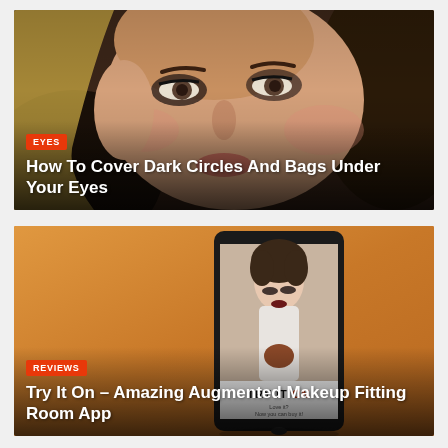[Figure (photo): Close-up photo of a young woman's face with makeup, blonde hair, dramatic eye makeup]
EYES
How To Cover Dark Circles And Bags Under Your Eyes
[Figure (photo): Smartphone on orange background displaying a makeup app called 'TRY IT ON' with a woman model on screen]
REVIEWS
Try It On – Amazing Augmented Makeup Fitting Room App